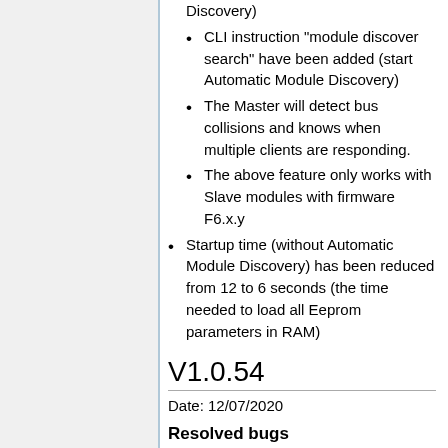CLI instruction "module discover search" have been added (start Automatic Module Discovery)
The Master will detect bus collisions and knows when multiple clients are responding.
The above feature only works with Slave modules with firmware F6.x.y
Startup time (without Automatic Module Discovery) has been reduced from 12 to 6 seconds (the time needed to load all Eeprom parameters in RAM)
V1.0.54
Date: 12/07/2020
Resolved bugs